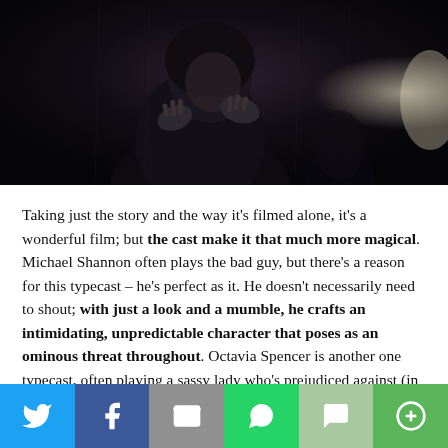[Figure (photo): Dark cinematic still from a film showing a figure in a dark hood or coat, appearing to be in rain, with hands raised near chest, moody dark blue-black tones]
Taking just the story and the way it's filmed alone, it's a wonderful film; but the cast make it that much more magical. Michael Shannon often plays the bad guy, but there's a reason for this typecast – he's perfect as it. He doesn't necessarily need to shout; with just a look and a mumble, he crafts an intimidating, unpredictable character that poses as an ominous threat throughout. Octavia Spencer is another one typecast, often playing a sassy lady who's prejudiced against (in this case by
[Figure (infographic): Social media share bar with six buttons: Twitter (blue), Facebook (dark blue), Email (grey), WhatsApp (green), SMS (light green), More options (green)]